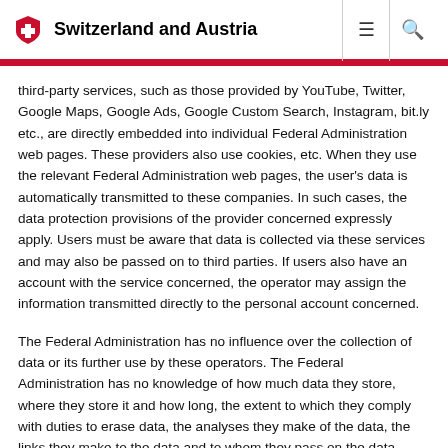Switzerland and Austria
third-party services, such as those provided by YouTube, Twitter, Google Maps, Google Ads, Google Custom Search, Instagram, bit.ly etc., are directly embedded into individual Federal Administration web pages. These providers also use cookies, etc. When they use the relevant Federal Administration web pages, the user's data is automatically transmitted to these companies. In such cases, the data protection provisions of the provider concerned expressly apply. Users must be aware that data is collected via these services and may also be passed on to third parties. If users also have an account with the service concerned, the operator may assign the information transmitted directly to the personal account concerned.
The Federal Administration has no influence over the collection of data or its further use by these operators. The Federal Administration has no knowledge of how much data they store, where they store it and how long, the extent to which they comply with duties to erase data, the analyses they make of the data, the links they make to the data and to whom they pass on the data.
The most important third-party services the Federal Administration